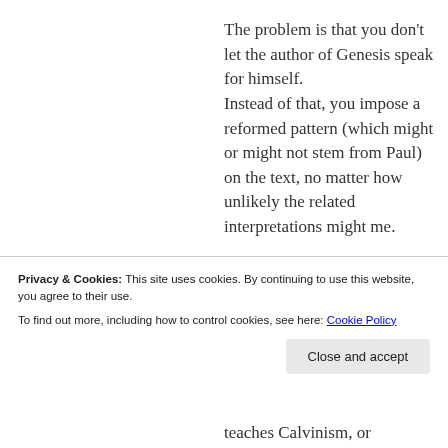The problem is that you don't let the author of Genesis speak for himself. Instead of that, you impose a reformed pattern (which might or might not stem from Paul) on the text, no matter how unlikely the related interpretations might me.
Privacy & Cookies: This site uses cookies. By continuing to use this website, you agree to their use.
To find out more, including how to control cookies, see here: Cookie Policy
teaches Calvinism, or